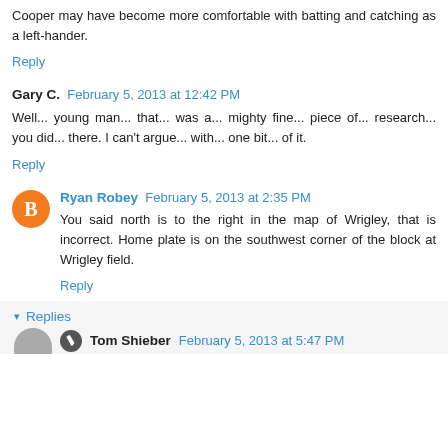Cooper may have become more comfortable with batting and catching as a left-hander.
Reply
Gary C.  February 5, 2013 at 12:42 PM
Well... young man... that... was a... mighty fine... piece of... research... you did... there. I can't argue... with... one bit... of it.
Reply
Ryan Robey  February 5, 2013 at 2:35 PM
You said north is to the right in the map of Wrigley, that is incorrect. Home plate is on the southwest corner of the block at Wrigley field.
Reply
Replies
Tom Shieber  February 5, 2013 at 5:47 PM